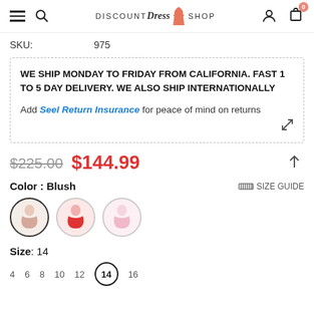Discount Dress Shop — navigation header with hamburger, search, logo, account, and cart (0 items)
SKU: 975
WE SHIP MONDAY TO FRIDAY FROM CALIFORNIA. FAST 1 TO 5 DAY DELIVERY. WE ALSO SHIP INTERNATIONALLY

Add Seel Return Insurance for peace of mind on returns
$225.00  $144.99
Color : Blush
SIZE GUIDE
[Figure (illustration): Three color swatches (dress thumbnails): first selected with dark border showing blush/nude dress, second showing red/pink dress, third showing light pink dress]
Size : 14
Size options: 4, 6, 8, 10, 12, 14 (selected), 16